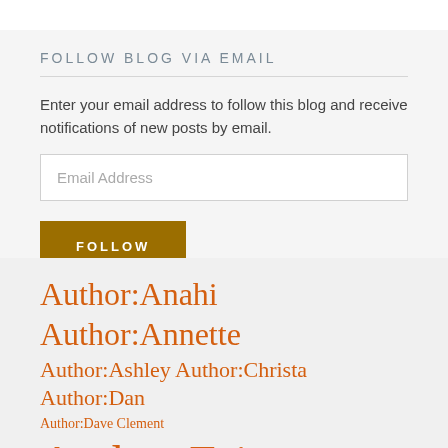FOLLOW BLOG VIA EMAIL
Enter your email address to follow this blog and receive notifications of new posts by email.
Email Address
FOLLOW
Author:Anahi
Author:Annette
Author:Ashley
Author:Christa
Author:Dan
Author:Dave Clement
Author:Erica